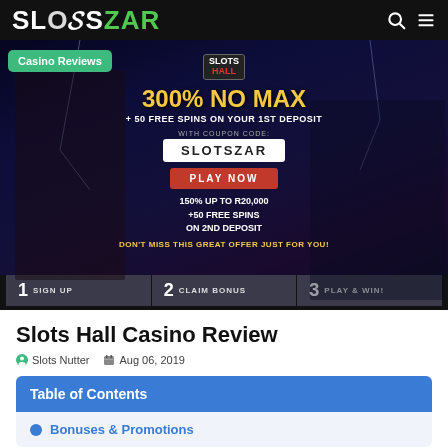SlotsZAR — navigation bar with search and menu icons
[Figure (screenshot): Slots Hall Casino promotional banner: 300% NO MAX + 50 FREE SPINS ON YOUR 1ST DEPOSIT, coupon code SLOTSZAR, PLAY NOW button, 150% UP TO R20,000 +50 FREE SPINS ON 2ND DEPOSIT, DON'T MISS THIS GREAT OFFER JUST FOR YOU, steps: 1 SIGN UP, 2 CLAIM BONUS, 3 PLAY & WIN]
Slots Hall Casino Review
Slots Nutter   Aug 06, 2019
Table of Contents
Bonuses & Promotions